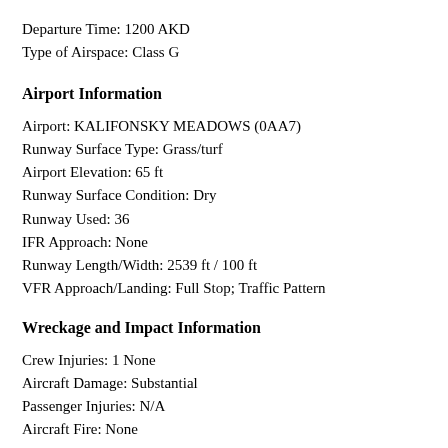Departure Time: 1200 AKD
Type of Airspace: Class G
Airport Information
Airport: KALIFONSKY MEADOWS (0AA7)
Runway Surface Type: Grass/turf
Airport Elevation: 65 ft
Runway Surface Condition: Dry
Runway Used: 36
IFR Approach: None
Runway Length/Width: 2539 ft / 100 ft
VFR Approach/Landing: Full Stop; Traffic Pattern
Wreckage and Impact Information
Crew Injuries: 1 None
Aircraft Damage: Substantial
Passenger Injuries: N/A
Aircraft Fire: None
Ground Injuries: N/A
Aircraft Explosion: None